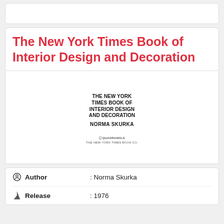The New York Times Book of Interior Design and Decoration
[Figure (illustration): Book cover thumbnail showing 'THE NEW YORK TIMES BOOK OF INTERIOR DESIGN AND DECORATION' by NORMA SKURKA, published by Quadrangle / The New York Times Book Co.]
Author : Norma Skurka
Release : 1976